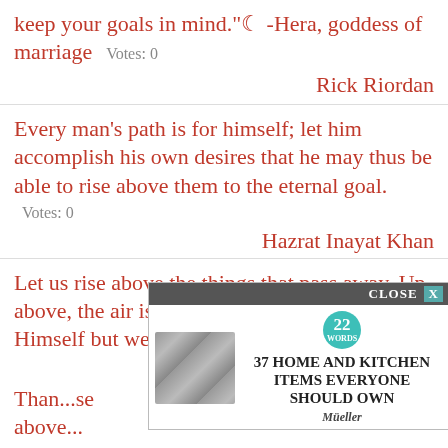keep your goals in mind."☾ -Hera, goddess of marriage   Votes: 0
Rick Riordan
Every man's path is for himself; let him accomplish his own desires that he may thus be able to rise above them to the eternal goal.
Votes: 0
Hazrat Inayat Khan
Let us rise above the things that pass away. Up above, the air is so pure. Jesus can hide Himself but we will find Him there.
...isieux
Than...se above...
[Figure (screenshot): Advertisement overlay: '37 HOME AND KITCHEN ITEMS EVERYONE SHOULD OWN' with Mueller brand, CLOSE button, number 22 badge, and product image of kitchen items.]